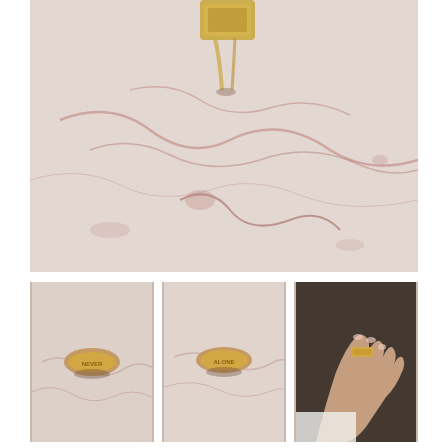[Figure (photo): Close-up photo of a gold ring resting on white marble surface with pink/red veining. The ring is partially visible at the top of the frame.]
[Figure (photo): Small gold ring with the word NEVER engraved on it, placed on white marble with pink veining.]
[Figure (photo): Small gold ring with the word ALONE engraved on it, placed on white marble with pink veining.]
[Figure (photo): A hand wearing a wide gold ring with text/lettering on it, photographed against a dark background.]